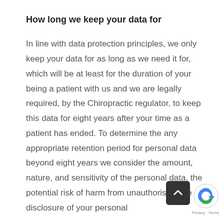How long we keep your data for
In line with data protection principles, we only keep your data for as long as we need it for, which will be at least for the duration of your being a patient with us and we are legally required, by the Chiropractic regulator, to keep this data for eight years after your time as a patient has ended. To determine the any appropriate retention period for personal data beyond eight years we consider the amount, nature, and sensitivity of the personal data, the potential risk of harm from unauthorised use or disclosure of your personal